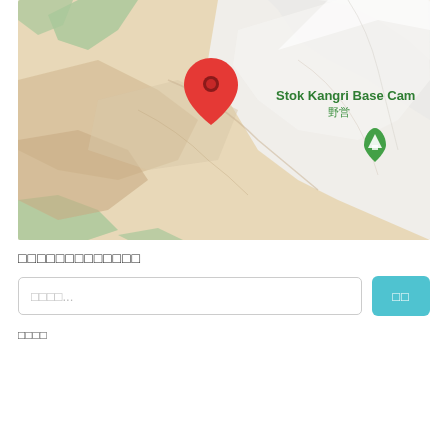[Figure (map): Google Maps screenshot showing a mountainous terrain with beige/tan hills and white snow-covered peaks. A red location pin marker is placed near the center-left of the map. On the right side, text reads 'Stok Kangri Base Camp' in green with Chinese/Japanese characters below, and a green camping icon (tent symbol) is shown below that text.]
□□□□□□□□□□□□□
□□□□...
□□
□□□□